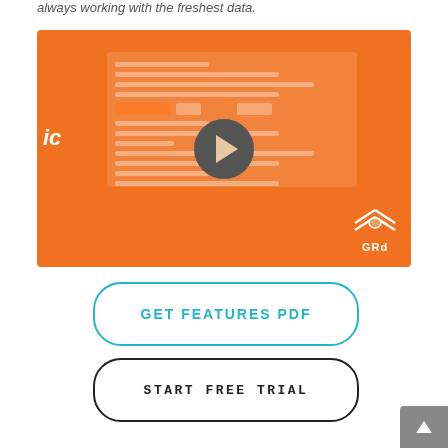always working with the freshest data.
[Figure (screenshot): Orange video thumbnail with play button and GRD logo in bottom right corner, showing a software interface screen mock-up]
GET FEATURES PDF
START FREE TRIAL